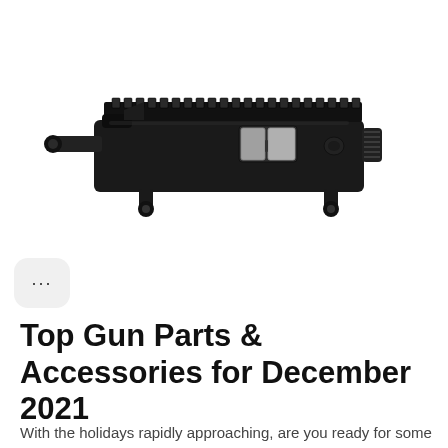[Figure (photo): Photo of a black AR-15 style upper receiver / firearm part, shown in profile on a white background. The receiver features a Picatinny rail on top, a dust cover/ejection port, forward assist, and threaded barrel end. It sits against a white background.]
Top Gun Parts & Accessories for December 2021
With the holidays rapidly approaching, are you ready for some new